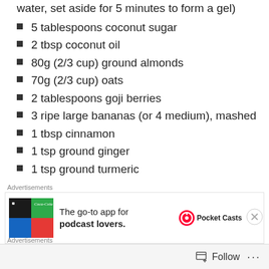egg (1 tbsp ground flaxseed mixed with 3 tbsp water, set aside for 5 minutes to form a gel)
5 tablespoons coconut sugar
2 tbsp coconut oil
80g (2/3 cup) ground almonds
70g (2/3 cup) oats
2 tablespoons goji berries
3 ripe large bananas (or 4 medium), mashed
1 tbsp cinnamon
1 tsp ground ginger
1 tsp ground turmeric
[Figure (screenshot): Advertisement banner for Pocket Casts app: The go-to app for podcast lovers.]
[Figure (screenshot): Second advertisement banner, green background.]
Follow ...